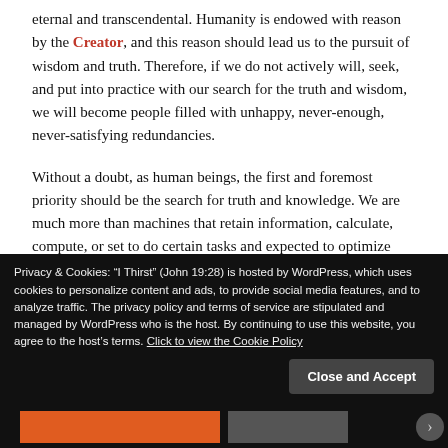eternal and transcendental. Humanity is endowed with reason by the Creator, and this reason should lead us to the pursuit of wisdom and truth. Therefore, if we do not actively will, seek, and put into practice with our search for the truth and wisdom, we will become people filled with unhappy, never-enough, never-satisfying redundancies.
Without a doubt, as human beings, the first and foremost priority should be the search for truth and knowledge. We are much more than machines that retain information, calculate, compute, or set to do certain tasks and expected to optimize productivity. We are much more corporeal products and utilities to be used, calculated, and objectified. We are human beings with dignity, created with love and endowed with
Privacy & Cookies: "I Thirst" (John 19:28) is hosted by WordPress, which uses cookies to personalize content and ads, to provide social media features, and to analyze traffic. The privacy policy and terms of service are stipulated and managed by WordPress who is the host. By continuing to use this website, you agree to the host's terms. Click to view the Cookie Policy